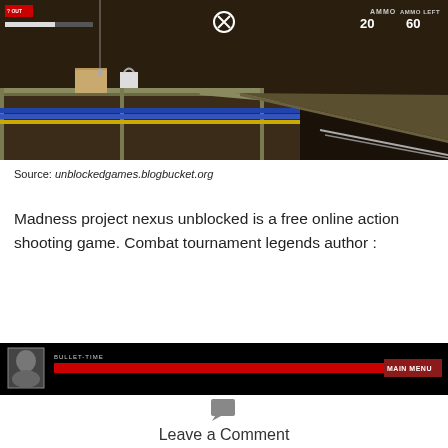[Figure (screenshot): Screenshot of a video game (Madness Project Nexus) showing a dark industrial environment with pipes, crates, and HUD elements including ammo counter (20 ammo, 60 left) and a close button]
Source: unblockedgames.blogbucket.org
Madness project nexus unblocked is a free online action shooting game. Combat tournament legends author :
[Figure (screenshot): Screenshot of a game interface showing a character portrait, a red bullet-time bar, and a MAIN MENU button on a black background]
Leave a Comment